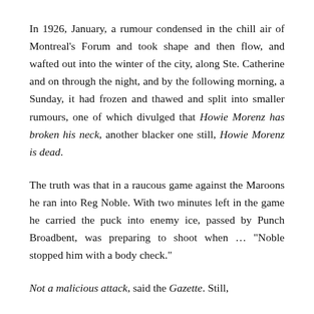In 1926, January, a rumour condensed in the chill air of Montreal's Forum and took shape and then flow, and wafted out into the winter of the city, along Ste. Catherine and on through the night, and by the following morning, a Sunday, it had frozen and thawed and split into smaller rumours, one of which divulged that Howie Morenz has broken his neck, another blacker one still, Howie Morenz is dead.
The truth was that in a raucous game against the Maroons he ran into Reg Noble. With two minutes left in the game he carried the puck into enemy ice, passed by Punch Broadbent, was preparing to shoot when … "Noble stopped him with a body check."
Not a malicious attack, said the Gazette. Still,